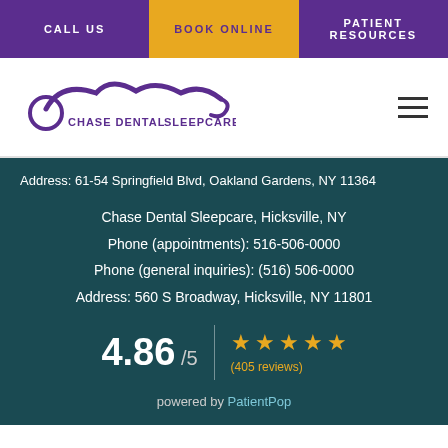CALL US | BOOK ONLINE | PATIENT RESOURCES
[Figure (logo): Chase Dental Sleepcare logo with stylized wave/cloud graphic in purple]
Address: 61-54 Springfield Blvd, Oakland Gardens, NY 11364
Chase Dental Sleepcare, Hicksville, NY
Phone (appointments): 516-506-0000
Phone (general inquiries): (516) 506-0000
Address: 560 S Broadway, Hicksville, NY 11801
4.86 /5  ★★★★★ (405 reviews)
powered by PatientPop